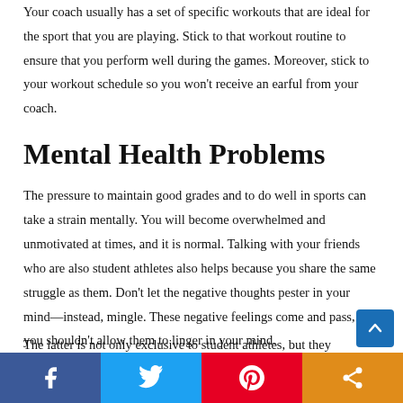Your coach usually has a set of specific workouts that are ideal for the sport that you are playing. Stick to that workout routine to ensure that you perform well during the games. Moreover, stick to your workout schedule so you won't receive an earful from your coach.
Mental Health Problems
The pressure to maintain good grades and to do well in sports can take a strain mentally. You will become overwhelmed and unmotivated at times, and it is normal. Talking with your friends who are also student athletes also helps because you share the same struggle as them. Don't let the negative thoughts pester in your mind—instead, mingle. These negative feelings come and pass, so you shouldn't allow them to linger in your mind.
The latter is not only exclusive to student athletes, but they...
[Figure (other): Social sharing bar at the bottom with Facebook, Twitter, Pinterest, and share icons]